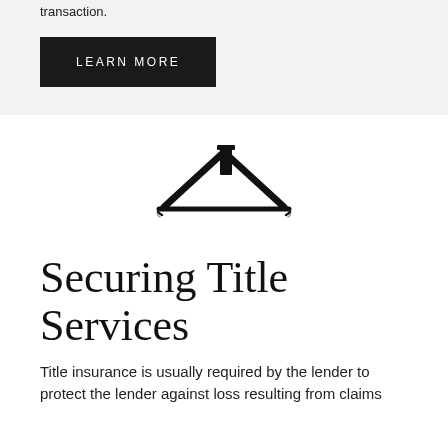transaction.
LEARN MORE
[Figure (logo): House/roof icon with chimney — a stylized rooftop logo in black ink brush style]
Securing Title Services
Title insurance is usually required by the lender to protect the lender against loss resulting from claims